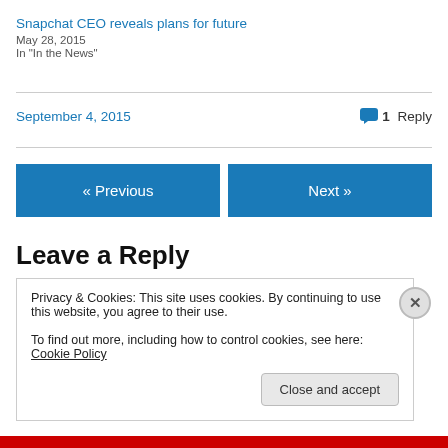Snapchat CEO reveals plans for future
May 28, 2015
In "In the News"
September 4, 2015   1 Reply
« Previous
Next »
Leave a Reply
Privacy & Cookies: This site uses cookies. By continuing to use this website, you agree to their use.
To find out more, including how to control cookies, see here: Cookie Policy
Close and accept